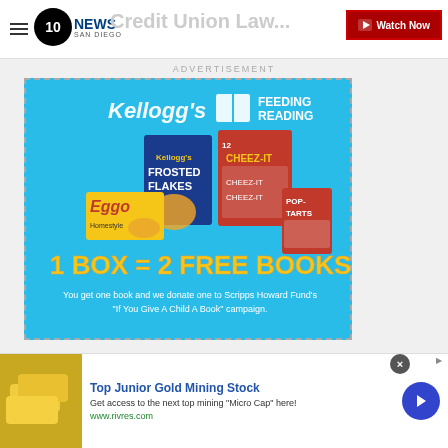10 NEWS San Diego — Watch Now
Credit Union Law...
ADVERTISEMENT
[Figure (photo): Kellogg's Feeding Reading advertisement. Shows Frosted Flakes, Cheez-It, Eggo, and Pop-Tarts boxes. Text: 1 BOX = 2 FREE BOOKS. You get one book and we donate one to Scripps Howard Fund's 'If You Give A Child A Book' campaign.]
[Figure (photo): Bottom banner advertisement: Top Junior Gold Mining Stock. Get access to the next top mining Micro Cap here! www.rivres.com. Shows gold bar image and blue arrow button.]